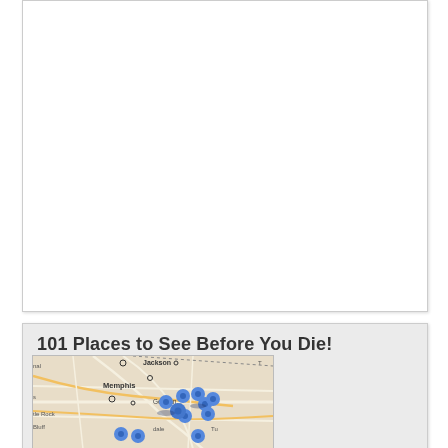[Figure (other): Empty white box with border, likely placeholder for an image or advertisement]
101 Places to See Before You Die!
[Figure (map): Google Maps screenshot showing the Memphis, TN area with multiple blue location pin markers clustered around Memphis, Germantown, and surrounding areas. Cities visible include Jackson, Memphis, Little Rock, and partial labels. Map shows roads and geographic features.]